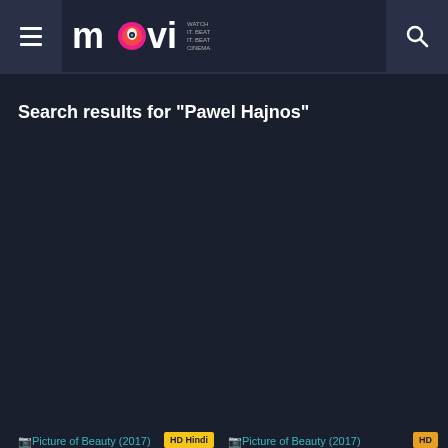movi — Watch it. Beat it. Cinema. Navigation bar with hamburger menu and search icon
Search results for "Pawel Hajnos"
[Figure (screenshot): Two movie result cards at the bottom: 'Picture of Beauty (2017)' with HD Hindi badge and 'Picture of Beauty (2017)' with HD badge]